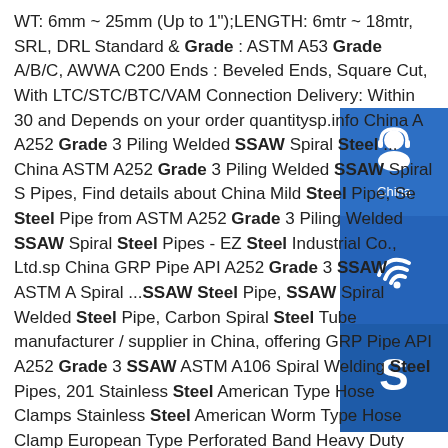WT: 6mm ~ 25mm (Up to 1");LENGTH: 6mtr ~ 18mtr, SRL, DRL Standard & Grade : ASTM A53 Grade A/B/C, AWWA C200 Ends : Beveled Ends, Square Cut, With LTC/STC/BTC/VAM Connection Delivery: Within 30 and Depends on your order quantitysp.info China A A252 Grade 3 Piling Welded SSAW Spiral Steel ... China ASTM A252 Grade 3 Piling Welded SSAW Spiral S Pipes, Find details about China Mild Steel Pipe, Se Steel Pipe from ASTM A252 Grade 3 Piling Welded SSAW Spiral Steel Pipes - EZ Steel Industrial Co., Ltd.sp China GRP Pipe API A252 Grade 3 SSAW ASTM A Spiral ...SSAW Steel Pipe, SSAW Spiral Welded Steel Pipe, Carbon Spiral Steel Tube manufacturer / supplier in China, offering GRP Pipe API A252 Grade 3 SSAW ASTM A106 Spiral Welding Steel Pipes, 201 Stainless Steel American Type Hose Clamps Stainless Steel American Worm Type Hose Clamp European Type Perforated Band Heavy Duty High Pressiure Pipe Clamp, China Shengteng Brand Galvanized Steel
[Figure (infographic): Three blue icon boxes stacked vertically on the right side: top box has a headset/customer service icon with label 'China', middle box has a phone/call icon, bottom box has a Skype 'S' logo icon.]